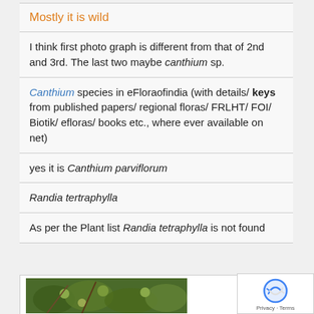Mostly it is wild
I think first photo graph is different from that of 2nd and 3rd. The last two maybe canthium sp.
Canthium species in eFloraofindia (with details/ keys from published papers/ regional floras/ FRLHT/ FOI/ Biotik/ efloras/ books etc., where ever available on net)
yes it is Canthium parviflorum
Randia tertraphylla
As per the Plant list Randia tetraphylla is not found
[Figure (photo): Photo of a plant with small green fruits and dense foliage, likely Canthium or Randia species]